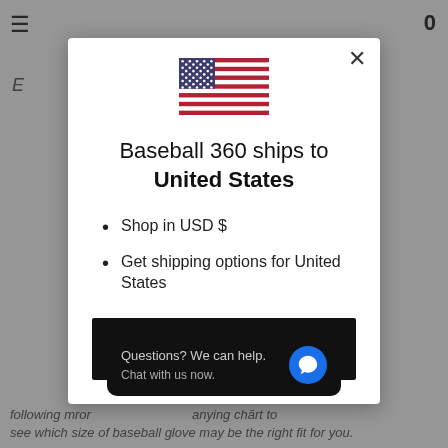[Figure (screenshot): Background webpage with hamburger menu icon, italic 'E', zero badge, and bottom italic text about baseball glove size]
[Figure (infographic): US flag SVG illustration centered in modal]
Baseball 360 ships to United States
Shop in USD $
Get shipping options for United States
Shop now
Questions? We can help. Chat with us now.